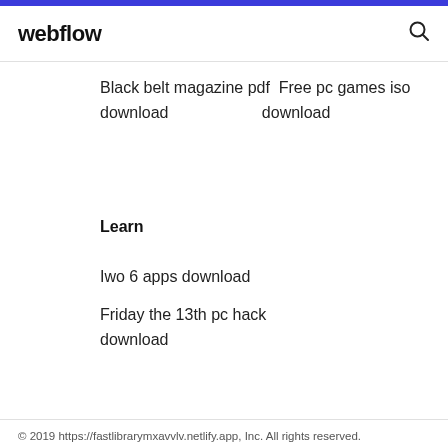webflow
Black belt magazine pdf Free pc games iso download                    download
Learn
Iwo 6 apps download
Friday the 13th pc hack download
© 2019 https://fastlibrarymxavvlv.netlify.app, Inc. All rights reserved.